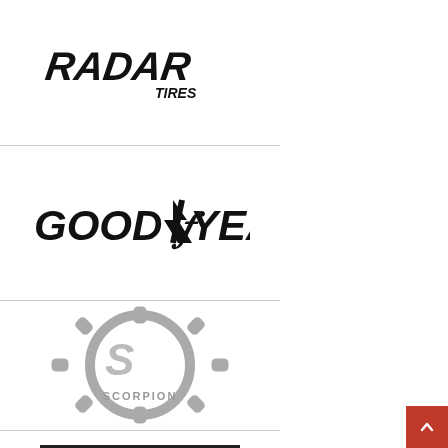[Figure (logo): Radar Tires logo in bold black italic font with 'TIRES' in smaller text below]
[Figure (logo): Goodyear logo in bold black italic font with a winged foot symbol between GOOD and YEAR]
[Figure (logo): Scorpion logo with gear/cog wheel design in silver/grey with stylized S and text SCORPION]
[Figure (logo): Nexen tire brand logo in bold black uppercase letters with rectangular border on top]